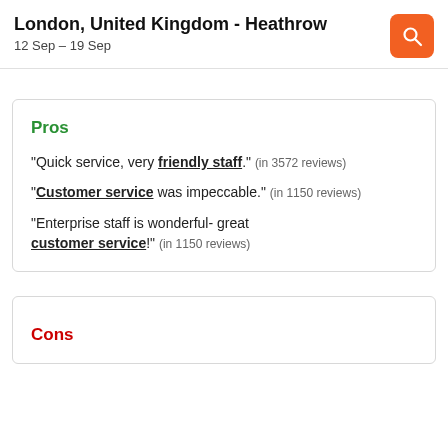London, United Kingdom - Heathrow
12 Sep – 19 Sep
Pros
"Quick service, very friendly staff." (in 3572 reviews)
"Customer service was impeccable." (in 1150 reviews)
"Enterprise staff is wonderful- great customer service!" (in 1150 reviews)
Cons